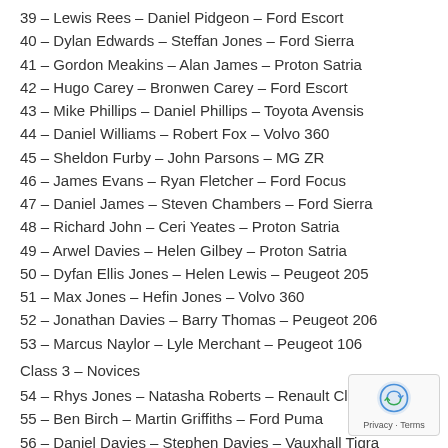39 – Lewis Rees – Daniel Pidgeon – Ford Escort
40 – Dylan Edwards – Steffan Jones – Ford Sierra
41 – Gordon Meakins – Alan James – Proton Satria
42 – Hugo Carey – Bronwen Carey – Ford Escort
43 – Mike Phillips – Daniel Phillips – Toyota Avensis
44 – Daniel Williams – Robert Fox – Volvo 360
45 – Sheldon Furby – John Parsons – MG ZR
46 – James Evans – Ryan Fletcher – Ford Focus
47 – Daniel James – Steven Chambers – Ford Sierra
48 – Richard John – Ceri Yeates – Proton Satria
49 – Arwel Davies – Helen Gilbey – Proton Satria
50 – Dyfan Ellis Jones – Helen Lewis – Peugeot 205
51 – Max Jones – Hefin Jones – Volvo 360
52 – Jonathan Davies – Barry Thomas – Peugeot 206
53 – Marcus Naylor – Lyle Merchant – Peugeot 106
Class 3 – Novices
54 – Rhys Jones – Natasha Roberts – Renault Clio
55 – Ben Birch – Martin Griffiths – Ford Puma
56 – Daniel Davies – Stephen Davies – Vauxhall Tigra